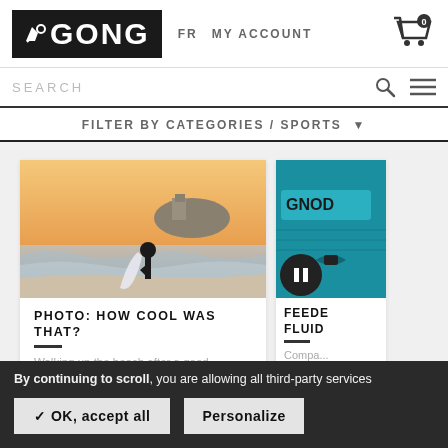GONG | FR | MY ACCOUNT
SEARCH
FILTER BY CATEGORIES / SPORTS
[Figure (photo): Woman standing on a beach holding a surfboard at sunset with a rocky island and castle in the background]
PHOTO: HOW COOL WAS THAT?
Walking up the beach after a good
[Figure (photo): Partially visible second article card showing GONG branded teal product packaging]
FEEDE... FLUID...
Compa...
By continuing to scroll, you are allowing all third-party services
✓ OK, accept all    Personalize